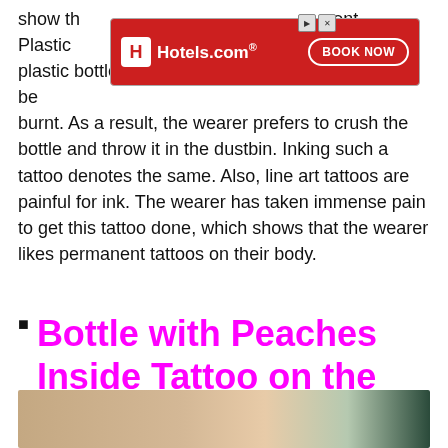show their concern and of the environment. Plastic bottles are plastic bottles. They can't be buried, nor they can be burnt. As a result, the wearer prefers to crush the bottle and throw it in the dustbin. Inking such a tattoo denotes the same. Also, line art tattoos are painful for ink. The wearer has taken immense pain to get this tattoo done, which shows that the wearer likes permanent tattoos on their body.
[Figure (other): Hotels.com advertisement banner with red background, H logo, brand name and BOOK NOW button]
Bottle with Peaches Inside Tattoo on the Forearm
[Figure (photo): Close-up photo of a forearm tattoo, showing skin with a decorative tattoo design]